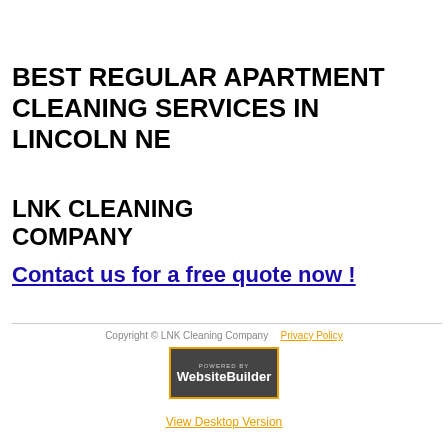BEST REGULAR APARTMENT CLEANING SERVICES IN LINCOLN NE
LNK CLEANING COMPANY
Contact us for a free quote now !
Copyright © LNK Cleaning Company   Privacy Policy
[Figure (logo): Powered by WebsiteBuilder logo badge with orange border and dark background]
View Desktop Version